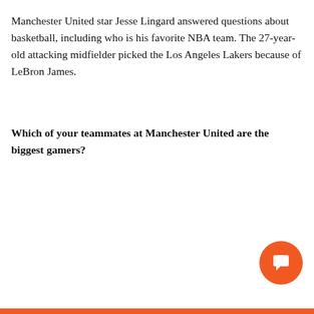Manchester United star Jesse Lingard answered questions about basketball, including who is his favorite NBA team. The 27-year-old attacking midfielder picked the Los Angeles Lakers because of LeBron James.
Which of your teammates at Manchester United are the biggest gamers?